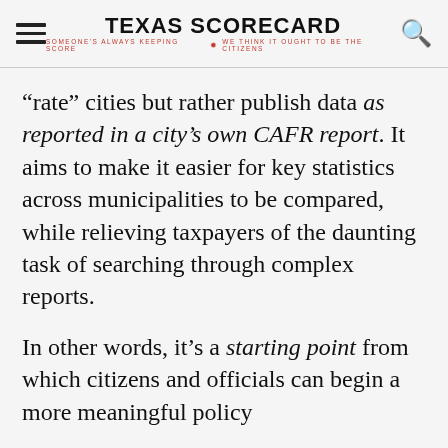TEXAS SCORECARD — SOMEONE'S ALWAYS KEEPING SCORE • WE THINK IT OUGHT TO BE THE CITIZENS
“rate” cities but rather publish data as reported in a city’s own CAFR report. It aims to make it easier for key statistics across municipalities to be compared, while relieving taxpayers of the daunting task of searching through complex reports.
In other words, it’s a starting point from which citizens and officials can begin a more meaningful policy